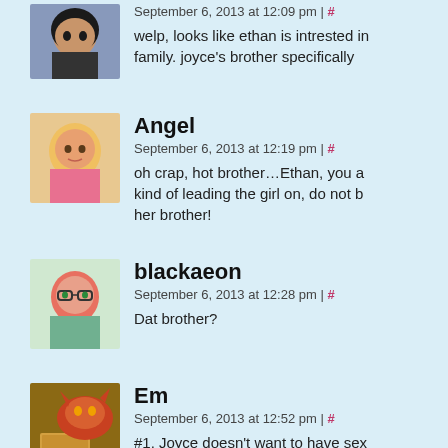September 6, 2013 at 12:09 pm | #
welp, looks like ethan is intrested in family. joyce's brother specifically
Angel
September 6, 2013 at 12:19 pm | #
oh crap, hot brother…Ethan, you are kind of leading the girl on, do not be her brother!
blackaeon
September 6, 2013 at 12:28 pm | #
Dat brother?
Em
September 6, 2013 at 12:52 pm | #
#1. Joyce doesn't want to have sex. NAOMI. SUCK. ON. THAT.
#2. Hahahahahahahaha. Ha. Ha. Y HAVE eyes for you. He has eyes fo